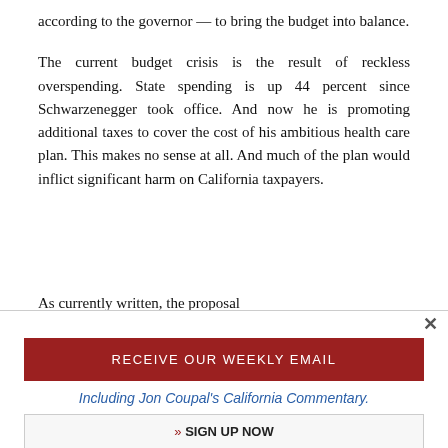according to the governor — to bring the budget into balance.
The current budget crisis is the result of reckless overspending. State spending is up 44 percent since Schwarzenegger took office. And now he is promoting additional taxes to cover the cost of his ambitious health care plan. This makes no sense at all. And much of the plan would inflict significant harm on California taxpayers.
As currently written, the proposal
RECEIVE OUR WEEKLY EMAIL
Including Jon Coupal's California Commentary.
» SIGN UP NOW